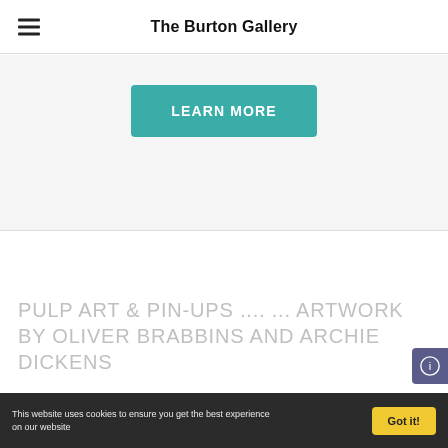The Burton Gallery
LEARN MORE
PULP ART & PIN-UPS .... ... ARTWORK BY OLIVER BRABBINS AND ARCHIE DICKENS
This website uses cookies to ensure you get the best experience on our website
Got it!